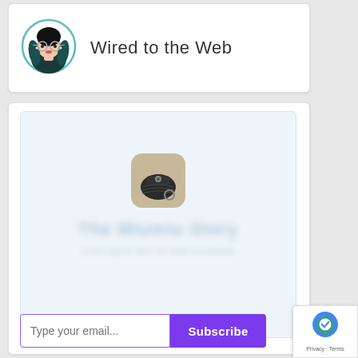[Figure (illustration): Wired to the Web blog logo: illustrated avatar of a woman with dark hair, glasses, and teal accents in a teal circle, next to the text 'Wired to the Web']
Wired to the Web
[Figure (illustration): A small app-style icon showing a dark clutch handbag on a tan/beige rounded-square background, centered in a light blue subscription card area with blurred title text below]
Type your email...
Subscribe